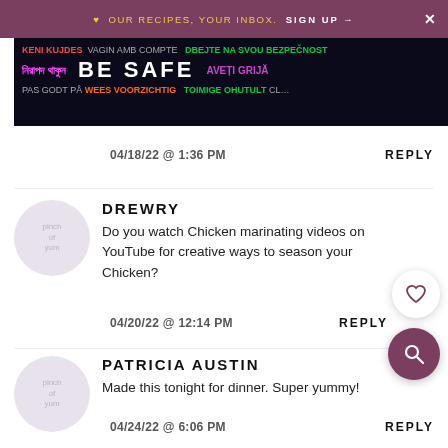♥ OUR RECIPES, YOUR INBOX. SIGN UP →
[Figure (screenshot): Anti-phishing/safety advertisement banner with multilingual 'BE SAFE' message in dark background]
wait to make this!
04/18/22 @ 1:36 PM
REPLY
DREWRY
Do you watch Chicken marinating videos on YouTube for creative ways to season your Chicken?
04/20/22 @ 12:14 PM
REPLY
PATRICIA AUSTIN
Made this tonight for dinner. Super yummy!
04/24/22 @ 6:06 PM
REPLY